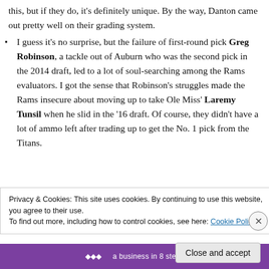this, but if they do, it's definitely unique. By the way, Danton came out pretty well on their grading system.
I guess it's no surprise, but the failure of first-round pick Greg Robinson, a tackle out of Auburn who was the second pick in the 2014 draft, led to a lot of soul-searching among the Rams evaluators. I got the sense that Robinson's struggles made the Rams insecure about moving up to take Ole Miss' Laremy Tunsil when he slid in the '16 draft. Of course, they didn't have a lot of ammo left after trading up to get the No. 1 pick from the Titans.
Privacy & Cookies: This site uses cookies. By continuing to use this website, you agree to their use.
To find out more, including how to control cookies, see here: Cookie Policy